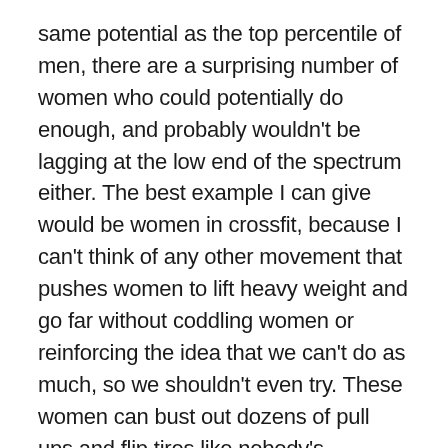same potential as the top percentile of men, there are a surprising number of women who could potentially do enough, and probably wouldn't be lagging at the low end of the spectrum either. The best example I can give would be women in crossfit, because I can't think of any other movement that pushes women to lift heavy weight and go far without coddling women or reinforcing the idea that we can't do as much, so we shouldn't even try. These women can bust out dozens of pull ups and flip tires like nobody's business
Also, when people bring up the 80 lb rucksack argument, the general image